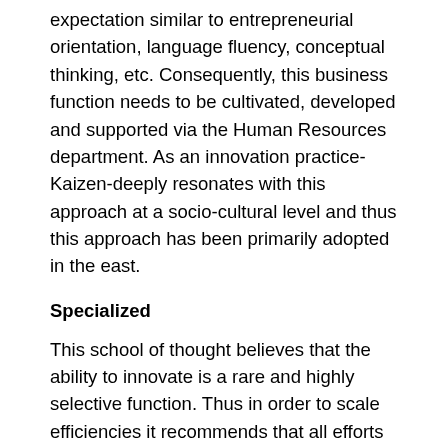expectation similar to entrepreneurial orientation, language fluency, conceptual thinking, etc. Consequently, this business function needs to be cultivated, developed and supported via the Human Resources department. As an innovation practice-Kaizen-deeply resonates with this approach at a socio-cultural level and thus this approach has been primarily adopted in the east.
Specialized
This school of thought believes that the ability to innovate is a rare and highly selective function. Thus in order to scale efficiencies it recommends that all efforts centered on innovation should be concentrated in a specific department or section. This entity...